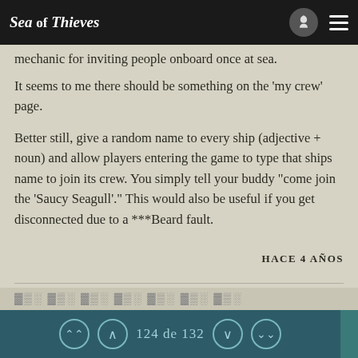Sea of Thieves
mechanic for inviting people onboard once at sea.
It seems to me there should be something on the 'my crew' page.
Better still, give a random name to every ship (adjective + noun) and allow players entering the game to type that ships name to join its crew. You simply tell your buddy "come join the 'Saucy Seagull'." This would also be useful if you get disconnected due to a ***Beard fault.
HACE 4 AÑOS
ChiTown Bear
124 de 132